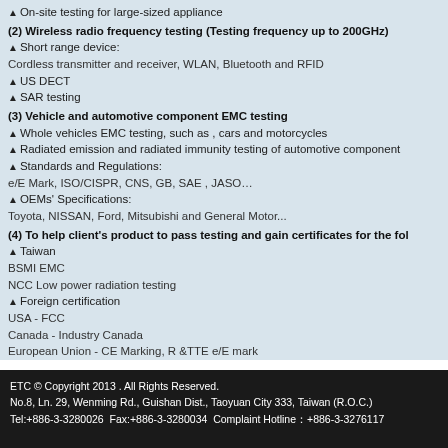▲ On-site testing for large-sized appliance
(2) Wireless radio frequency testing (Testing frequency up to 200GHz)
▲ Short range device:
Cordless transmitter and receiver, WLAN, Bluetooth and RFID
▲ US DECT
▲ SAR testing
(3) Vehicle and automotive component EMC testing
▲ Whole vehicles EMC testing, such as , cars and motorcycles
▲ Radiated emission and radiated immunity testing of automotive component
▲ Standards and Regulations:
e/E Mark, ISO/CISPR, CNS, GB, SAE , JASO…
▲ OEMs' Specifications:
Toyota, NISSAN, Ford, Mitsubishi and General Motor...
(4) To help client's product to pass testing and gain certificates for the fol
▲ Taiwan
BSMI EMC
NCC Low power radiation testing
▲ Foreign certification
USA - FCC
Canada - Industry Canada
European Union - CE Marking, R &TTE e/E mark
APLAC, Australia, Japan, New Zealand, Singapore, Hong Kong and Russia C
ETC © Copyright 2013 . All Rights Reserved.
No.8, Ln. 29, Wenming Rd., Guishan Dist., Taoyuan City 333, Taiwan (R.O.C.)
Tel:+886-3-3280026  Fax:+886-3-3280034  Complaint Hotline：+886-3-3276117